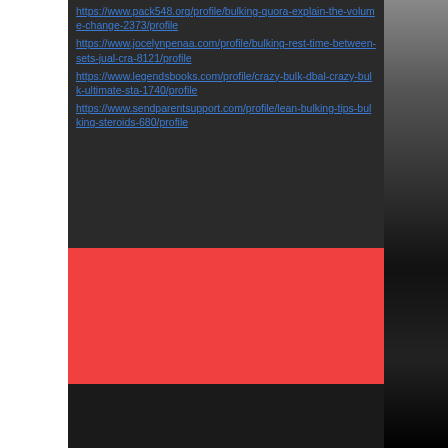https://www.pack548.org/profile/bulking-quora-explain-the-volume-change-2373/profile https://www.jocelynpenaa.com/profile/bulking-rest-time-between-sets-jual-cra-8121/profile https://www.legendsbooks.com/profile/crazy-bulk-dbal-crazy-bulk-ultimate-sta-1740/profile https://www.sendparentsupport.com/profile/lean-bulking-tips-bulking-steroids-680/profile
[Figure (other): Red rectangular block (decorative section)]